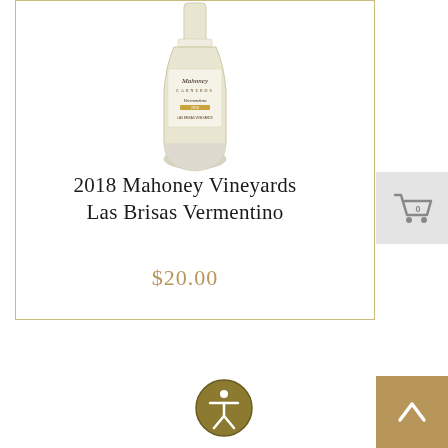[Figure (photo): Wine bottle photo - 2018 Mahoney Vineyards Las Brisas Vermentino white wine bottle with gold label]
2018 Mahoney Vineyards Las Brisas Vermentino
$20.00
[Figure (other): Shopping cart icon with number 0]
[Figure (other): Accessibility icon - circular golden badge with person figure]
[Figure (other): Back to top button - golden square with upward chevron arrow]